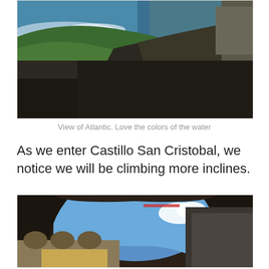[Figure (photo): View of the Atlantic Ocean from a fort wall or rampart, with crashing waves, green grassy hillside, dark stone pathway, and a stone fortification wall in the background.]
View of Atlantic. Love the colors of the water
As we enter Castillo San Cristobal, we notice we will be climbing more inclines.
[Figure (photo): View looking out through a large stone arch at Castillo San Cristobal. The arch frames a blue sky with white clouds, and below are arched colonnades and a large curved fortress wall, with yellow buildings visible.]